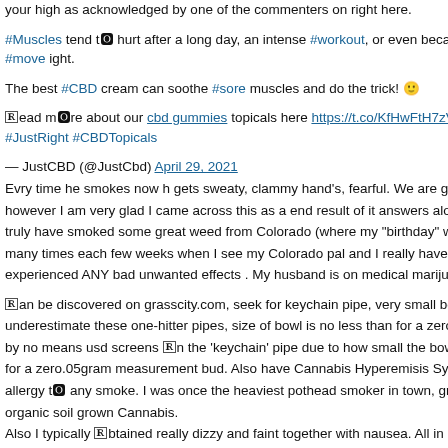your high as acknowledged by one of the commenters on right here.
#Muscles tend to hurt after a long day, an intense #workout, or even becaus #move ight.
The best #CBD cream can soothe #sore muscles and do the trick! 🙂
Read more about our cbd gummies topicals here https://t.co/KfHwFtH7zV#S #JustRight #CBDTopicals
— JustCBD (@JustCbd) April 29, 2021
Evry time he smokes now h gets sweaty, clammy hand's, fearful. We are ge however I am very glad I came across this as a end result of it answers alot truly have smoked some great weed from Colorado (where my "birthday" we many times each few weeks when I see my Colorado pal and I really have N experienced ANY bad unwanted effects . My husband is on medical marijua
Can be discovered on grasscity.com, seek for keychain pipe, very small bow underestimate these one-hitter pipes, size of bowl is no less than for a zero. by no means usd screens in the 'keychain' pipe due to how small the bowl i for a zero.05gram measurement bud. Also have Cannabis Hyperemisis Syn allergy to any smoke. I was once the heaviest pothead smoker in town, gran organic soil grown Cannabis.
Also I typically obtained really dizzy and faint together with nausea. All in all God for what MJ has done for me however my final determination was to gi needed you to know that th Psychosis half may be very true.
You can also find it helpful to contact a help group for medicinal cannabis pa there may be the United Patients Alliance, and throughout a lot of the remai there may be NORML, who ought to b in a position to put you in touch with space . Interestingly, in the research cited above, some customers reported judgement of their paranoia. For instance, one topic who knew he was pron emotions was acutely aware of the reality that hashish exacerbated his pred Knowing such predispositions can even hlp in navigating a paranoid cannab experiencing paranoia following use of hashish, be certain to depart a big le earlier than next trying to use it, and decrease the dose to remain inside com